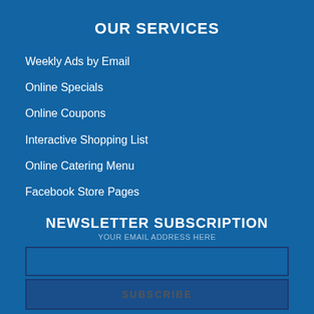OUR SERVICES
Weekly Ads by Email
Online Specials
Online Coupons
Interactive Shopping List
Online Catering Menu
Facebook Store Pages
NEWSLETTER SUBSCRIPTION
SUBSCRIBE